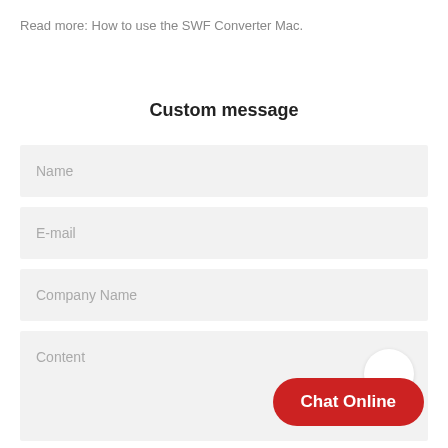Read more: How to use the SWF Converter Mac.
Custom message
Name
E-mail
Company Name
Content
Chat Online